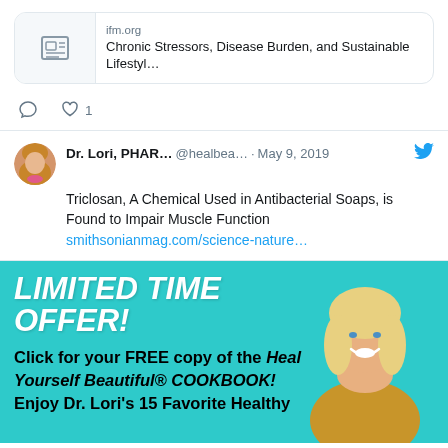[Figure (screenshot): Link card showing ifm.org article: Chronic Stressors, Disease Burden, and Sustainable Lifestyl...]
ifm.org
Chronic Stressors, Disease Burden, and Sustainable Lifestyl...
1 like
Dr. Lori, PHAR... @healbeа... · May 9, 2019
Triclosan, A Chemical Used in Antibacterial Soaps, is Found to Impair Muscle Function
smithsonianmag.com/science-nature...
[Figure (infographic): Teal advertisement banner: LIMITED TIME OFFER! Click for your FREE copy of the Heal Yourself Beautiful® COOKBOOK! Enjoy Dr. Lori's 15 Favorite Healthy — with photo of blonde woman]